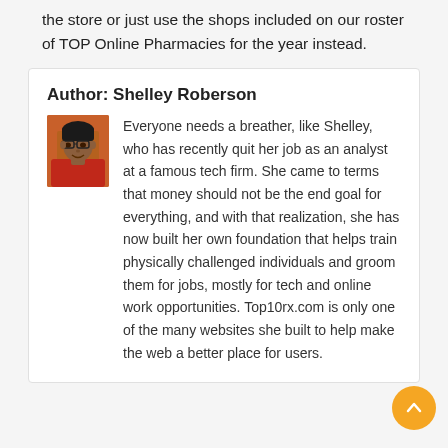the store or just use the shops included on our roster of TOP Online Pharmacies for the year instead.
Author: Shelley Roberson
[Figure (photo): Headshot photo of Shelley Roberson, a woman wearing glasses and a red top]
Everyone needs a breather, like Shelley, who has recently quit her job as an analyst at a famous tech firm. She came to terms that money should not be the end goal for everything, and with that realization, she has now built her own foundation that helps train physically challenged individuals and groom them for jobs, mostly for tech and online work opportunities. Top10rx.com is only one of the many websites she built to help make the web a better place for users.